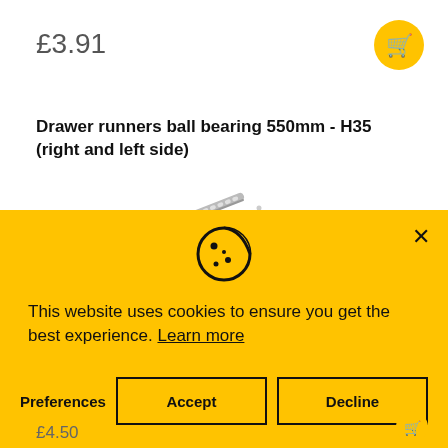£3.91
[Figure (illustration): Yellow circular cart/shopping basket icon]
Drawer runners ball bearing 550mm - H35 (right and left side)
[Figure (photo): Diagonal metallic silver drawer runner rail on white background]
[Figure (infographic): Cookie consent banner with cookie icon, text, and three buttons: Preferences, Accept, Decline]
£4.50